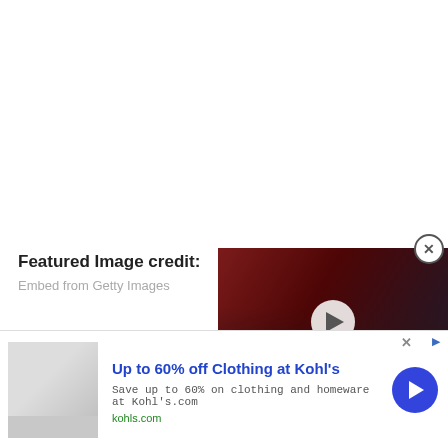Featured Image credit:
Embed from Getty Images
[Figure (photo): UFC fighter holding championship belt with crowd in background, video thumbnail with play button]
[Figure (screenshot): Advertisement banner: Up to 60% off Clothing at Kohl's. Save up to 60% on clothing and homeware at Kohl's.com. kohls.com]